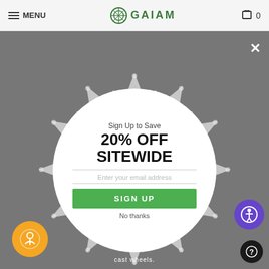MENU | GAIAM | 0
[Figure (screenshot): Gaiam website with a modal popup overlay showing a mandala decorative background, a product image at the top, a white circular modal with email signup offer]
Sign Up to Save 20% OFF SITEWIDE
Enter your email address
SIGN UP
No thanks